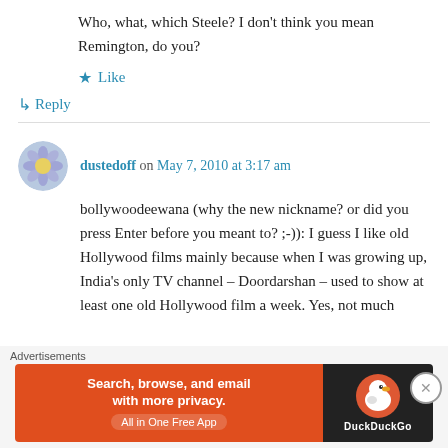Who, what, which Steele? I don't think you mean Remington, do you?
★ Like
↳ Reply
dustedoff on May 7, 2010 at 3:17 am
bollywoodeewana (why the new nickname? or did you press Enter before you meant to? ;-)): I guess I like old Hollywood films mainly because when I was growing up, India's only TV channel – Doordarshan – used to show at least one old Hollywood film a week. Yes, not much
Advertisements
[Figure (infographic): DuckDuckGo advertisement banner: orange left section with text 'Search, browse, and email with more privacy. All in One Free App', dark right section with DuckDuckGo duck logo]